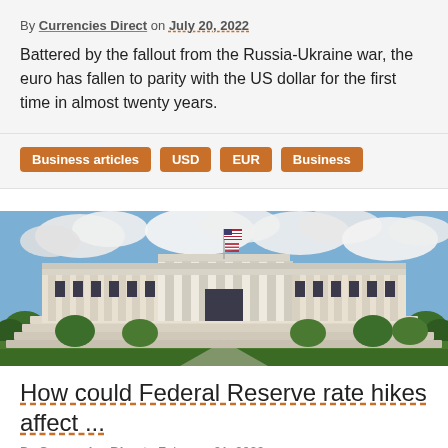By Currencies Direct on July 20, 2022
Battered by the fallout from the Russia-Ukraine war, the euro has fallen to parity with the US dollar for the first time in almost twenty years.
Business articles
USD
EUR
Business
[Figure (photo): Photograph of the Federal Reserve building in Washington D.C., a large neoclassical white stone building with columns and an American flag on top, surrounded by trees under a partly cloudy sky.]
How could Federal Reserve rate hikes affect ...
By Currencies Direct   February 01, 2022